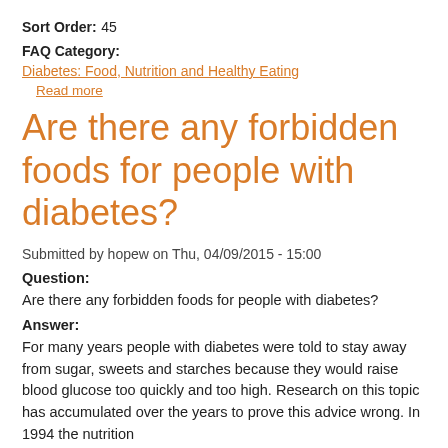Sort Order:
45
FAQ Category:
Diabetes: Food, Nutrition and Healthy Eating
Read more
Are there any forbidden foods for people with diabetes?
Submitted by hopew on Thu, 04/09/2015 - 15:00
Question:
Are there any forbidden foods for people with diabetes?
Answer:
For many years people with diabetes were told to stay away from sugar, sweets and starches because they would raise blood glucose too quickly and too high. Research on this topic has accumulated over the years to prove this advice wrong. In 1994 the nutrition